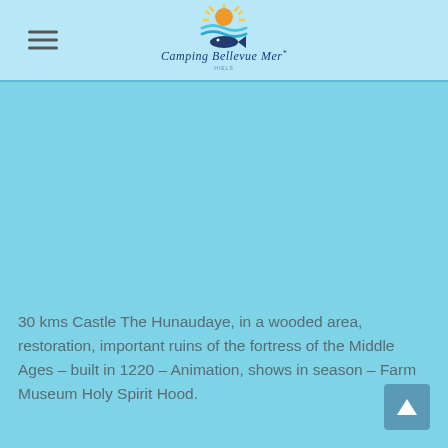Camping Bellevue Mer
[Figure (logo): Camping Bellevue Mer logo with sun, waves, and fish above italic text 'Camping Bellevue Mer*']
30 kms Castle The Hunaudaye, in a wooded area, restoration, important ruins of the fortress of the Middle Ages – built in 1220 – Animation, shows in season – Farm Museum Holy Spirit Hood.